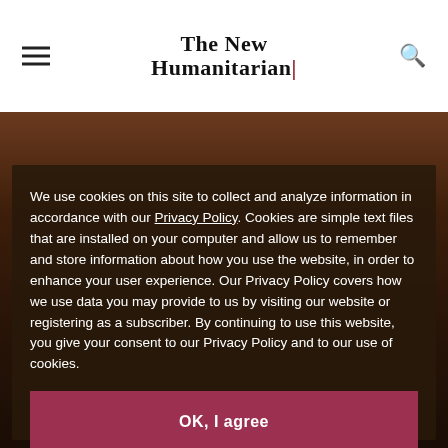The New Humanitarian
[Figure (photo): Dark warm-toned background photo visible behind cookie consent overlay]
We use cookies on this site to collect and analyze information in accordance with our Privacy Policy. Cookies are simple text files that are installed on your computer and allow us to remember and store information about how you use the website, in order to enhance your user experience. Our Privacy Policy covers how we use data you may provide to us by visiting our website or registering as a subscriber. By continuing to use this website, you give your consent to our Privacy Policy and to our use of cookies.
OK, I agree